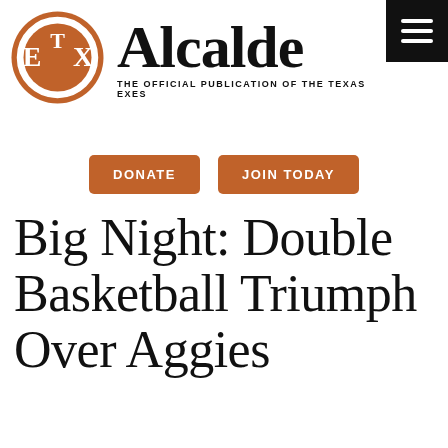[Figure (logo): Alcalde magazine logo: orange circular Texas Exes emblem on the left, large serif 'Alcalde' wordmark on the right, with tagline 'THE OFFICIAL PUBLICATION OF THE TEXAS EXES' below]
[Figure (other): Hamburger menu icon (three white horizontal bars) on a black square background, top-right corner]
DONATE
JOIN TODAY
Big Night: Double Basketball Triumph Over Aggies